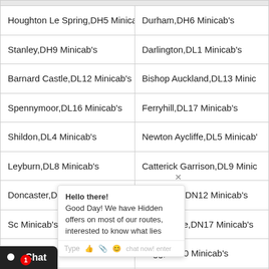| Col1 | Col2 |
| --- | --- |
| Houghton Le Spring,DH5 Minicab's | Durham,DH6 Minicab's |
| Stanley,DH9 Minicab's | Darlington,DL1 Minicab's |
| Barnard Castle,DL12 Minicab's | Bishop Auckland,DL13 Minic… |
| Spennymoor,DL16 Minicab's | Ferryhill,DL17 Minicab's |
| Shildon,DL4 Minicab's | Newton Aycliffe,DL5 Minicab… |
| Leyburn,DL8 Minicab's | Catterick Garrison,DL9 Minic… |
| Doncaster,DN11 Minicab's | Doncaster,DN12 Minicab's |
| Sc… Minicab's | Scunthorpe,DN17 Minicab's |
| Do… nicab's | Brigg,DN20 Minicab's |
| Do… nicab's | Grimsby,DN31 Minicab's |
| Gri… icab's | Cleethorpes,DN35 Minicab's |
| …y,DN38 Minicab's | Ulceby,DN39 Minicab's |